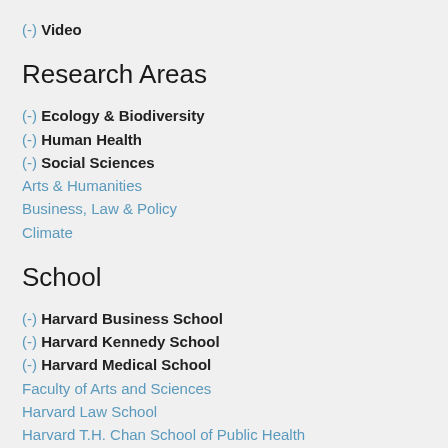(-) Video
Research Areas
(-) Ecology & Biodiversity
(-) Human Health
(-) Social Sciences
Arts & Humanities
Business, Law & Policy
Climate
School
(-) Harvard Business School
(-) Harvard Kennedy School
(-) Harvard Medical School
Faculty of Arts and Sciences
Harvard Law School
Harvard T.H. Chan School of Public Health